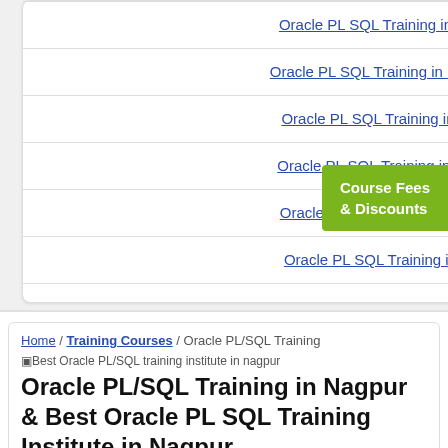Oracle PL SQL Training in Jaipur
Oracle PL SQL Training in Lucknow
Oracle PL SQL Training in Surat
Oracle PL SQL Training in Raipur
Oracle PL SQL Training in Patna
Oracle PL SQL Training in Agra
[Figure (other): Course Fees & Discounts green badge button]
Home / Training Courses / Oracle PL/SQL Training
[Figure (other): Best Oracle PL/SQL training institute in nagpur]
Oracle PL/SQL Training in Nagpur & Best Oracle PL SQL Training Institute in Nagpur
4.8 out of 5 based on 3869 student ratings